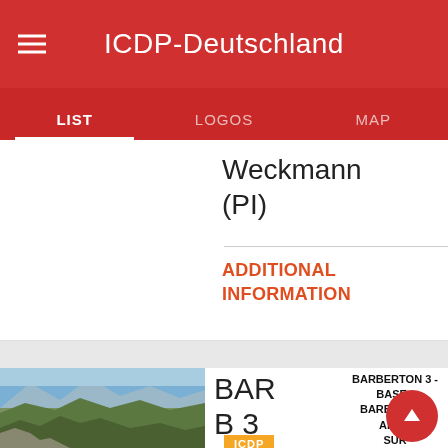ICDP-Deutschland
LIST | LOGOS | MAP
Weckmann (PI)
ADDITIONAL INFORMATION
[Figure (photo): Mountain landscape with green hills and blue sky]
BAR B 3
ICDP
BARBERTON 3 - BASE - BARBERTON ARCH SURFACE ENVIRONMENTS, MOODIES GROUP